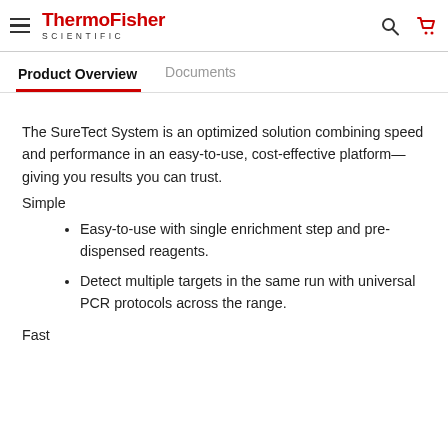ThermoFisher SCIENTIFIC
Product Overview | Documents
The SureTect System is an optimized solution combining speed and performance in an easy-to-use, cost-effective platform—giving you results you can trust.
Simple
Easy-to-use with single enrichment step and pre-dispensed reagents.
Detect multiple targets in the same run with universal PCR protocols across the range.
Fast